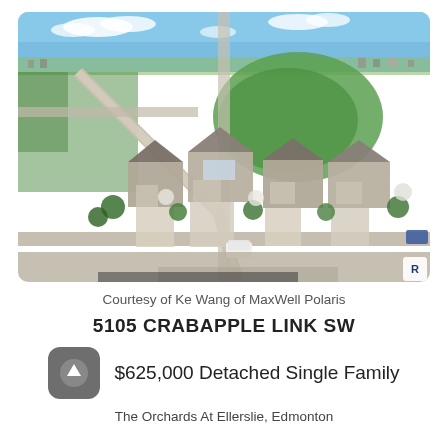[Figure (photo): Aerial drone photograph of a residential neighborhood showing row houses with attached garages, driveways, green park area, and surrounding suburban streets in The Orchards at Ellerslie, Edmonton.]
Courtesy of Ke Wang of MaxWell Polaris
5105 CRABAPPLE LINK SW
$625,000 Detached Single Family
The Orchards At Ellerslie, Edmonton